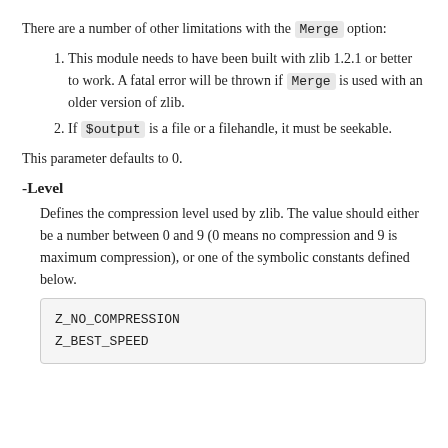There are a number of other limitations with the Merge option:
This module needs to have been built with zlib 1.2.1 or better to work. A fatal error will be thrown if Merge is used with an older version of zlib.
If $output is a file or a filehandle, it must be seekable.
This parameter defaults to 0.
-Level
Defines the compression level used by zlib. The value should either be a number between 0 and 9 (0 means no compression and 9 is maximum compression), or one of the symbolic constants defined below.
Z_NO_COMPRESSION
Z_BEST_SPEED